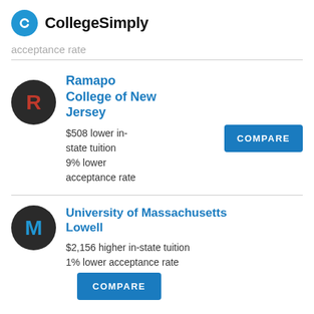CollegeSimply
acceptance rate
Ramapo College of New Jersey
$508 lower in-state tuition
9% lower acceptance rate
University of Massachusetts Lowell
$2,156 higher in-state tuition
1% lower acceptance rate